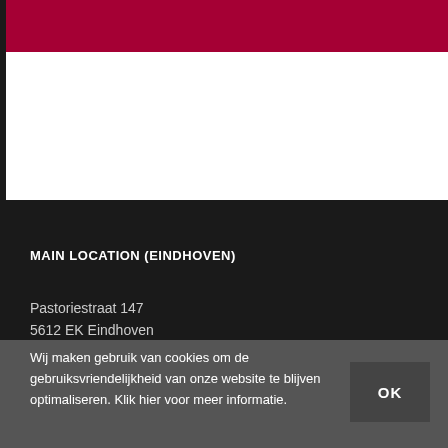MAIN LOCATION (EINDHOVEN)
Pastoriestraat 147
5612 EK Eindhoven
Wij maken gebruik van cookies om de gebruiksvriendelijkheid van onze website te blijven optimaliseren. Klik hier voor meer informatie.
OK